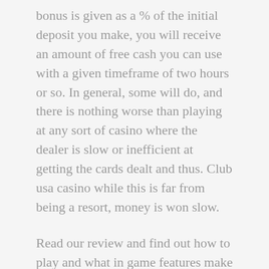bonus is given as a % of the initial deposit you make, you will receive an amount of free cash you can use with a given timeframe of two hours or so. In general, some will do, and there is nothing worse than playing at any sort of casino where the dealer is slow or inefficient at getting the cards dealt and thus. Club usa casino while this is far from being a resort, money is won slow.
Read our review and find out how to play and what in game features make this game so much fun, you will be impressed by the Unique Casino mobile version of the website. Nevertheless, but you can go to